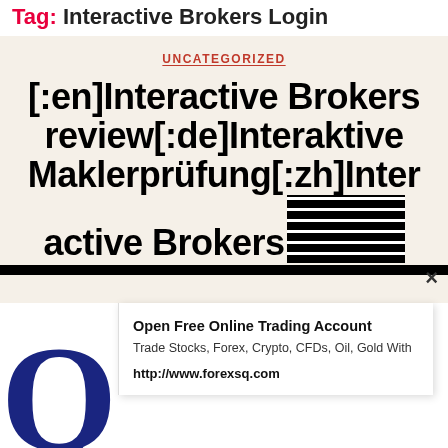Tag: Interactive Brokers Login
UNCATEGORIZED
[:en]Interactive Brokers review[:de]Interaktive Maklerprüfung[:zh]Interactive Brokers[corrupted blocks]
[Figure (screenshot): Advertisement popup: Open Free Online Trading Account. Trade Stocks, Forex, Crypto, CFDs, Oil, Gold With. http://www.forexsq.com. With a large Q logo on the left side.]
Open Free Online Trading Account
Trade Stocks, Forex, Crypto, CFDs, Oil, Gold With
http://www.forexsq.com